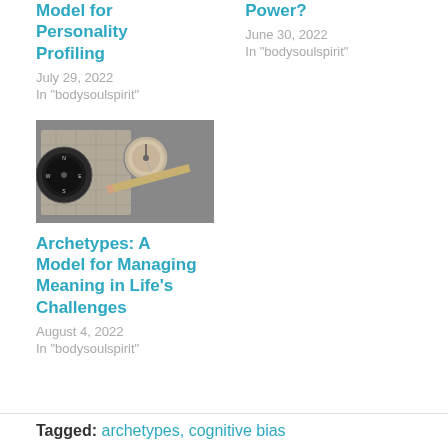Model for Personality Profiling
July 29, 2022
In "bodysoulspirit"
Power?
June 30, 2022
In "bodysoulspirit"
[Figure (photo): Black and white image of a compass and navigation instruments on a map]
Archetypes: A Model for Managing Meaning in Life's Challenges
August 4, 2022
In "bodysoulspirit"
Tagged: archetypes, cognitive bias